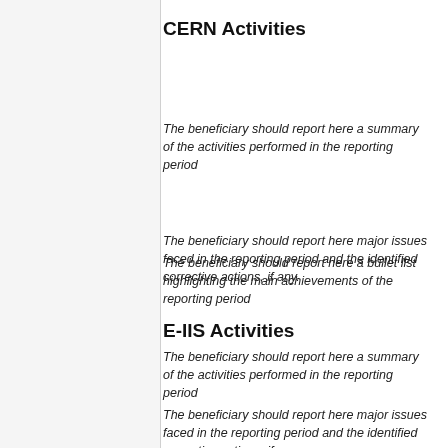CERN Activities
The beneficiary should report here a summary of the activities performed in the reporting period
The beneficiary should report here major issues faced in the reporting period and the identified corrective actions, if any.
The beneficiary should report here a bullet list highlighting the main achievements of the reporting period
E-IIS Activities
The beneficiary should report here a summary of the activities performed in the reporting period
The beneficiary should report here major issues faced in the reporting period and the identified corrective actions, if any.